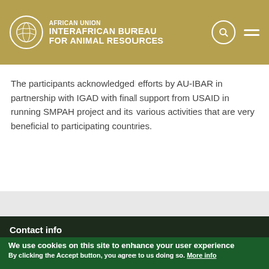AFRICAN UNION INTERAFRICAN BUREAU FOR ANIMAL RESOURCES
The participants acknowledged efforts by AU-IBAR in partnership with IGAD with final support from USAID in running SMPAH project and its various activities that are very beneficial to participating countries.
Contact info
We use cookies on this site to enhance your user experience
By clicking the Accept button, you agree to us doing so. More info